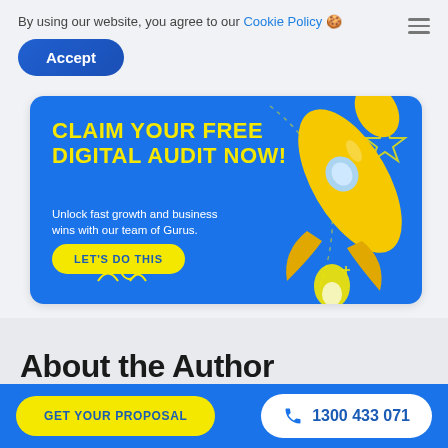By using our website, you agree to our Cookie Policy 🍪
Accept
[Figure (infographic): Blue banner advertisement with yellow rocket illustration. Headline: CLAIM YOUR FREE DIGITAL AUDIT NOW! Subtext: Unlock fast growth and business wins with our team of Gurus. Button: LET'S DO THIS]
About the Author
GET YOUR PROPOSAL
1300 433 071